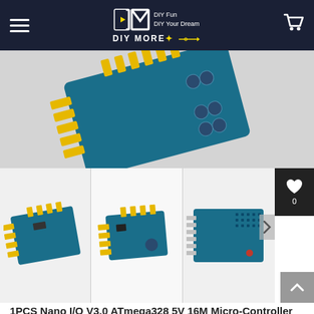DIY MORE — DIY Fun DIY Your Dream
[Figure (photo): Close-up of a blue and yellow Arduino Nano I/O expansion shield PCB showing connectors and components]
[Figure (photo): Three thumbnail product images of the Arduino Nano I/O Expansion Shield from different angles]
1PCS Nano I/O V3.0 ATmega328 5V 16M Micro-Controller Board Arduino I/O Expansion Shield
SKU:010093
$4.99